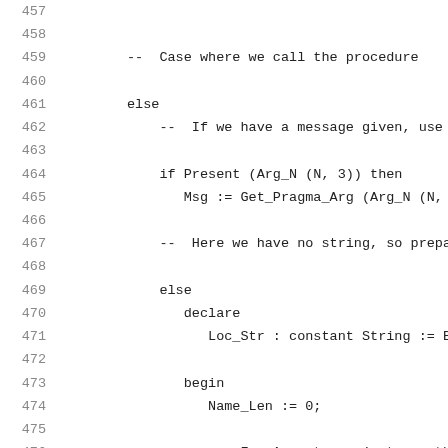457
458
459   --  Case where we call the procedure
460
461   else
462       --  If we have a message given, use it
463
464       if Present (Arg_N (N, 3)) then
465           Msg := Get_Pragma_Arg (Arg_N (N, 3)
466
467       --  Here we have no string, so prepare
468
469       else
470          declare
471             Loc_Str : constant String := Bui
472
473          begin
474             Name_Len := 0;
475
476             --  For Assert, we just use the
477
478             if Nam = Name_Assert then